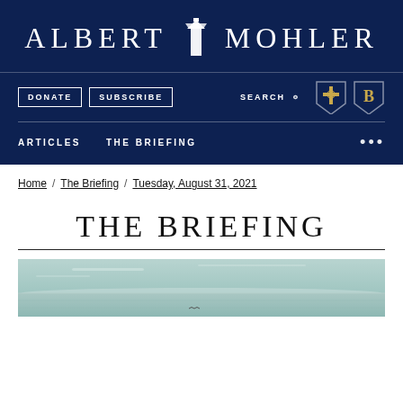ALBERT MOHLER
DONATE | SUBSCRIBE | SEARCH | [site logos]
ARTICLES | THE BRIEFING | ...
Home / The Briefing / Tuesday, August 31, 2021
THE BRIEFING
[Figure (photo): Landscape/seascape scene with muted teal sky and calm water, partial view at bottom of page]